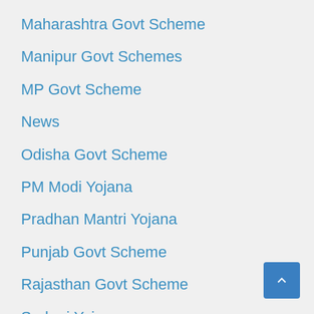Maharashtra Govt Scheme
Manipur Govt Schemes
MP Govt Scheme
News
Odisha Govt Scheme
PM Modi Yojana
Pradhan Mantri Yojana
Punjab Govt Scheme
Rajasthan Govt Scheme
Sarkari Yojana
Scholarship
Scholarship Scheme
Tamilnadu Govt Schemes
Tech News